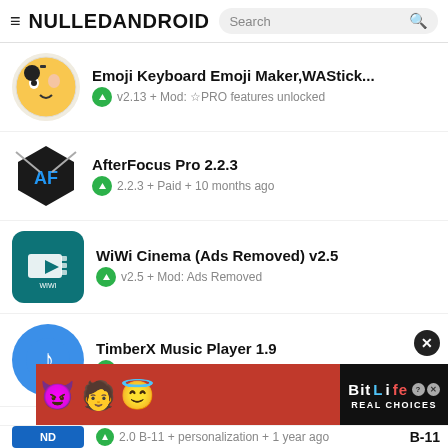NULLEDANDROID
Emoji Keyboard Emoji Maker,WAStick... v2.13 + Mod: ☆PRO features unlocked
AfterFocus Pro 2.2.3 2.2.3 + Paid + 10 months ago
WiWi Cinema (Ads Removed) v2.5 v2.5 + Mod: Ads Removed
TimberX Music Player 1.9 1.9 + music-audio + 2 years ago
[Figure (screenshot): BitLife ad banner with emoji characters and REAL CHOICES text]
2.0 B-11 + personalization + 1 year ago